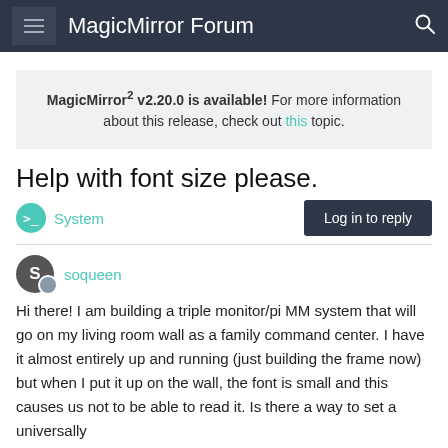MagicMirror Forum
MagicMirror² v2.20.0 is available! For more information about this release, check out this topic.
Help with font size please.
System   Log in to reply
soqueen
Hi there! I am building a triple monitor/pi MM system that will go on my living room wall as a family command center. I have it almost entirely up and running (just building the frame now) but when I put it up on the wall, the font is small and this causes us not to be able to read it. Is there a way to set a universally